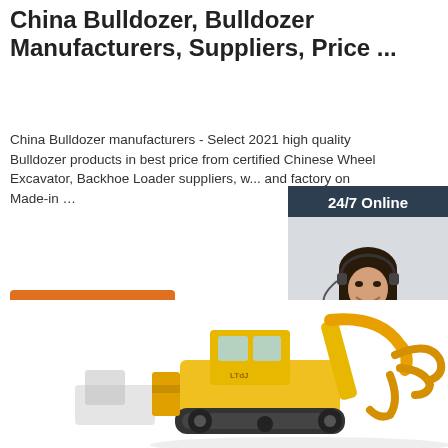China Bulldozer, Bulldozer Manufacturers, Suppliers, Price ...
China Bulldozer manufacturers - Select 2021 high quality Bulldozer products in best price from certified Chinese Wheel Excavator, Backhoe Loader suppliers, w... and factory on Made-in …
[Figure (other): Orange 'Get Price' button]
[Figure (other): Live chat widget with '24/7 Online' header, photo of smiling woman with headset, 'Click here for free chat!' text, and orange QUOTATION button]
[Figure (photo): Yellow construction bulldozer/wheel loader with claw attachment on white background]